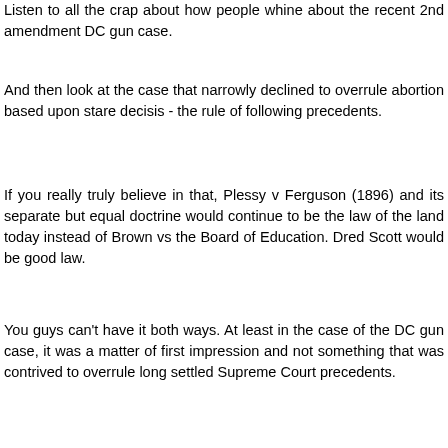Listen to all the crap about how people whine about the recent 2nd amendment DC gun case.
And then look at the case that narrowly declined to overrule abortion based upon stare decisis - the rule of following precedents.
If you really truly believe in that, Plessy v Ferguson (1896) and its separate but equal doctrine would continue to be the law of the land today instead of Brown vs the Board of Education. Dred Scott would be good law.
You guys can't have it both ways. At least in the case of the DC gun case, it was a matter of first impression and not something that was contrived to overrule long settled Supreme Court precedents.
Reply
Anonymous 10:00 AM
And they call supporters of Obama cultists.